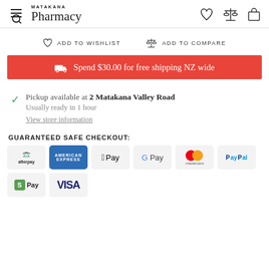MATAKANA Pharmacy
ADD TO WISHLIST   ADD TO COMPARE
Spend $30.00 for free shipping NZ wide
Pickup available at 2 Matakana Valley Road. Usually ready in 1 hour. View store information
GUARANTEED SAFE CHECKOUT:
[Figure (infographic): Payment method logos: Afterpay, American Express, Apple Pay, Google Pay, Mastercard, PayPal, Shopify Pay, Visa]